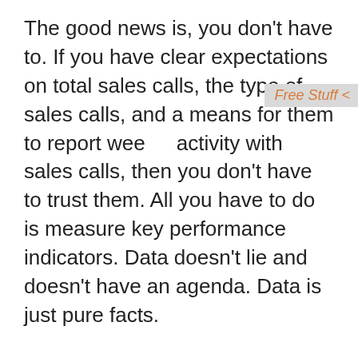The good news is, you don't have to. If you have clear expectations on total sales calls, the type of sales calls, and a means for them to report weekly activity with sales calls, then you don't have to trust them. All you have to do is measure key performance indicators. Data doesn't lie and doesn't have an agenda. Data is just pure facts.
If you get more referrals and/or more phone inquiries then they must be out there doing something. We can provide